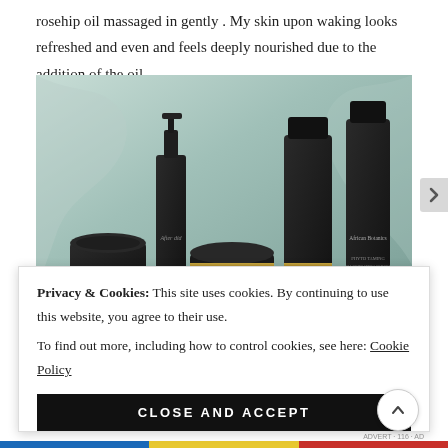rosehip oil massaged in gently . My skin upon waking looks refreshed and even and feels deeply nourished due to the addition of the oil.
[Figure (photo): Flat lay / styled product photo of multiple dark glass skincare bottles and jars arranged against a soft green/teal draped fabric background. Includes pump bottles, dropper bottles, and round jars, all in dark/black packaging with minimal gold-accented labels.]
Privacy & Cookies: This site uses cookies. By continuing to use this website, you agree to their use.
To find out more, including how to control cookies, see here: Cookie Policy
CLOSE AND ACCEPT